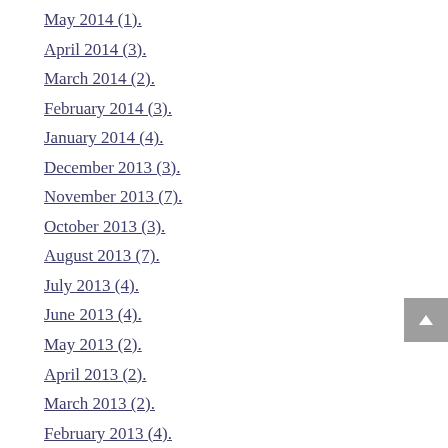May 2014 (1).
April 2014 (3).
March 2014 (2).
February 2014 (3).
January 2014 (4).
December 2013 (3).
November 2013 (7).
October 2013 (3).
August 2013 (7).
July 2013 (4).
June 2013 (4).
May 2013 (2).
April 2013 (2).
March 2013 (2).
February 2013 (4).